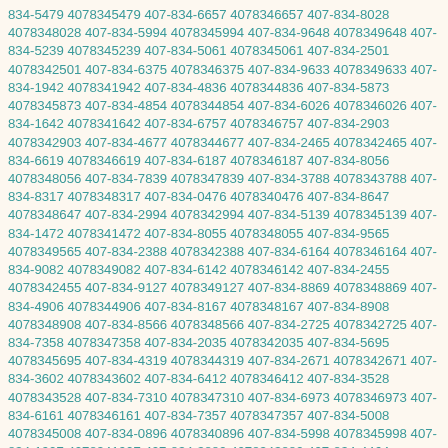834-5479 4078345479 407-834-6657 4078346657 407-834-8028 4078348028 407-834-5994 4078345994 407-834-9648 4078349648 407-834-5239 4078345239 407-834-5061 4078345061 407-834-2501 4078342501 407-834-6375 4078346375 407-834-9633 4078349633 407-834-1942 4078341942 407-834-4836 4078344836 407-834-5873 4078345873 407-834-4854 4078344854 407-834-6026 4078346026 407-834-1642 4078341642 407-834-6757 4078346757 407-834-2903 4078342903 407-834-4677 4078344677 407-834-2465 4078342465 407-834-6619 4078346619 407-834-6187 4078346187 407-834-8056 4078348056 407-834-7839 4078347839 407-834-3788 4078343788 407-834-8317 4078348317 407-834-0476 4078340476 407-834-8647 4078348647 407-834-2994 4078342994 407-834-5139 4078345139 407-834-1472 4078341472 407-834-8055 4078348055 407-834-9565 4078349565 407-834-2388 4078342388 407-834-6164 4078346164 407-834-9082 4078349082 407-834-6142 4078346142 407-834-2455 4078342455 407-834-9127 4078349127 407-834-8869 4078348869 407-834-4906 4078344906 407-834-8167 4078348167 407-834-8908 4078348908 407-834-8566 4078348566 407-834-2725 4078342725 407-834-7358 4078347358 407-834-2035 4078342035 407-834-5695 4078345695 407-834-4319 4078344319 407-834-2671 4078342671 407-834-3602 4078343602 407-834-6412 4078346412 407-834-3528 4078343528 407-834-7310 4078347310 407-834-6973 4078346973 407-834-6161 4078346161 407-834-7357 4078347357 407-834-5008 4078345008 407-834-0896 4078340896 407-834-5998 4078345998 407-834-1907 4078341907 407-834-3889 4078343889 407-834-4464 4078344464 407-834-9129 4078349129 407-834-8646 4078348646 407-834-3350 4078343350 407-834-3485 4078343485 407-834-4445